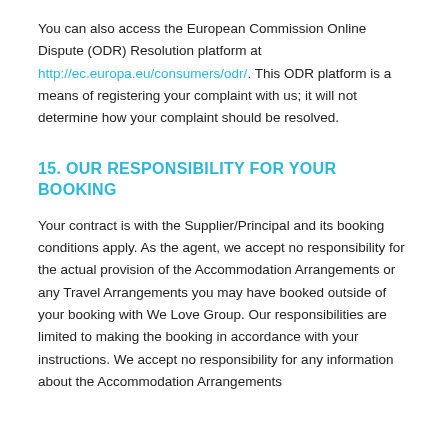You can also access the European Commission Online Dispute (ODR) Resolution platform at http://ec.europa.eu/consumers/odr/. This ODR platform is a means of registering your complaint with us; it will not determine how your complaint should be resolved.
15. OUR RESPONSIBILITY FOR YOUR BOOKING
Your contract is with the Supplier/Principal and its booking conditions apply. As the agent, we accept no responsibility for the actual provision of the Accommodation Arrangements or any Travel Arrangements you may have booked outside of your booking with We Love Group. Our responsibilities are limited to making the booking in accordance with your instructions. We accept no responsibility for any information about the Accommodation Arrangements